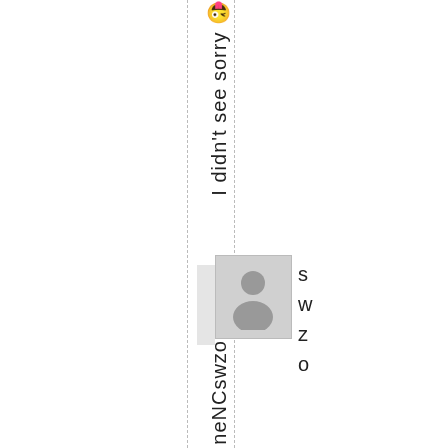I didn't see sorry 😜
[Figure (photo): User profile avatar placeholder image (gray silhouette on light gray background)]
swzo
neNCswzo